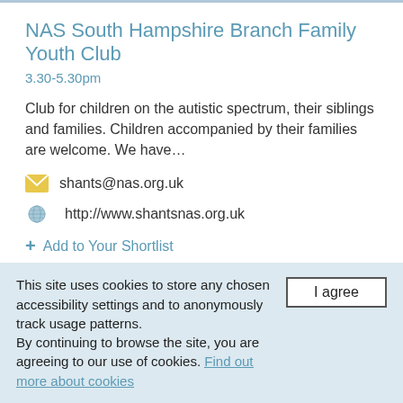NAS South Hampshire Branch Family Youth Club
3.30-5.30pm
Club for children on the autistic spectrum, their siblings and families. Children accompanied by their families are welcome. We have…
shants@nas.org.uk
http://www.shantsnas.org.uk
+ Add to Your Shortlist
NAS South Hampshire Branch Support/Social G…
This site uses cookies to store any chosen accessibility settings and to anonymously track usage patterns. By continuing to browse the site, you are agreeing to our use of cookies. Find out more about cookies